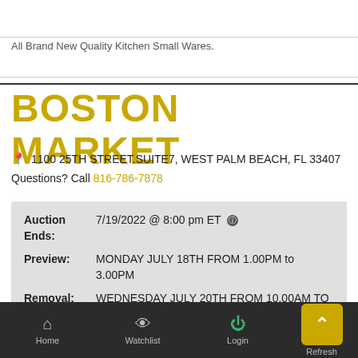All Brand New Quality Kitchen Small Wares.
BOSTON MARKET
📍 1100 25TH STREET.SUITE7, WEST PALM BEACH, FL 33407
Questions? Call 816-786-7878
| Auction Ends: | 7/19/2022 @ 8:00 pm ET |
| Preview: | MONDAY JULY 18TH FROM 1.00PM to 3.00PM |
| Removal: | WEDNESDAY JULY 20TH FROM 10.00AM TO 4.00PM |
Home  Watchlist  Login  Refresh